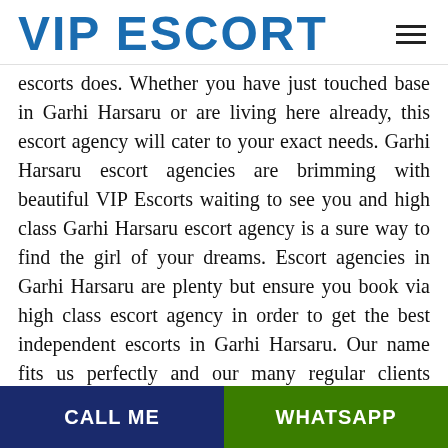VIP ESCORT
escorts does. Whether you have just touched base in Garhi Harsaru or are living here already, this escort agency will cater to your exact needs. Garhi Harsaru escort agencies are brimming with beautiful VIP Escorts waiting to see you and high class Garhi Harsaru escort agency is a sure way to find the girl of your dreams. Escort agencies in Garhi Harsaru are plenty but ensure you book via high class escort agency in order to get the best independent escorts in Garhi Harsaru. Our name fits us perfectly and our many regular clients would second that too. Top Garhi Harsaru VIP Escorts can be found in an elite escort. Our high class
CALL ME | WHATSAPP